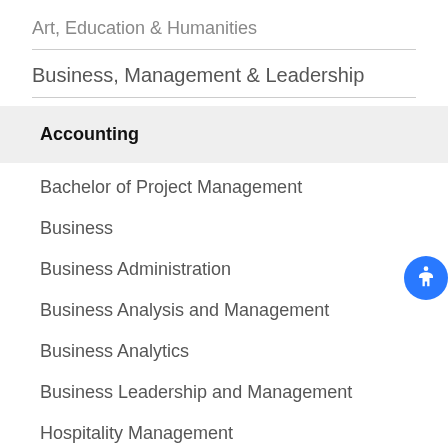Art, Education & Humanities
Business, Management & Leadership
Accounting
Bachelor of Project Management
Business
Business Administration
Business Analysis and Management
Business Analytics
Business Leadership and Management
Hospitality Management